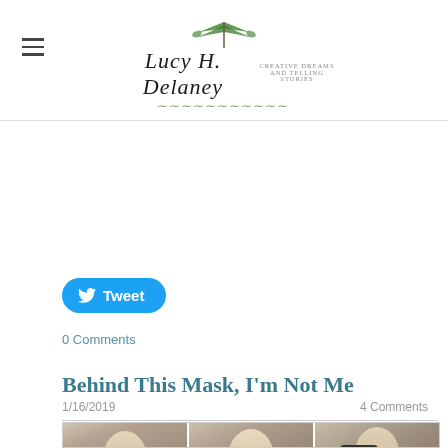Lucy H. Delaney — Creative Dreams and Telling Stories
[Figure (other): Tweet button with Twitter bird icon]
0 Comments
Behind This Mask, I'm Not Me
1/16/2019   4 Comments
[Figure (photo): Three-panel photo strip of women wearing decorative masquerade masks at a party with string lights in background]